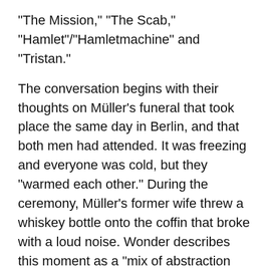"The Mission," "The Scab," "Hamlet"/"Hamletmachine" and "Tristan."
The conversation begins with their thoughts on Müller's funeral that took place the same day in Berlin, and that both men had attended. It was freezing and everyone was cold, but they "warmed each other." During the ceremony, Müller's former wife threw a whiskey bottle onto the coffin that broke with a loud noise. Wonder describes this moment as a "mix of abstraction and actuality," as "fascinating and awe inspiring."
In the second part, Kluge and Wonder discuss the plays that emerged from the collaboration with Müller. According to Wonder, working with Müller was very different from working with other directors – in his opinion, Müller was not a "professional stage director," but that was exactly why he appreciated the liberating, and sometimes confusing, collaboration. For Müller,